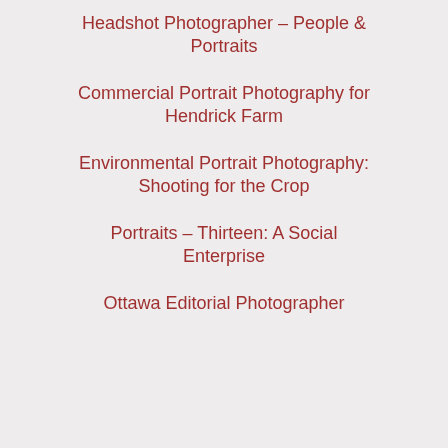Headshot Photographer – People & Portraits
Commercial Portrait Photography for Hendrick Farm
Environmental Portrait Photography: Shooting for the Crop
Portraits – Thirteen: A Social Enterprise
Ottawa Editorial Photographer